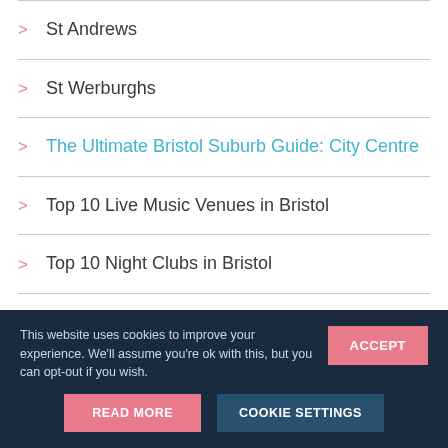St Andrews
St Werburghs
The Ultimate Bristol Suburb Guide: City Centre
Top 10 Live Music Venues in Bristol
Top 10 Night Clubs in Bristol
Top 10 Places to Eat in Bristol
This website uses cookies to improve your experience. We'll assume you're ok with this, but you can opt-out if you wish. ACCEPT READ MORE COOKIE SETTINGS